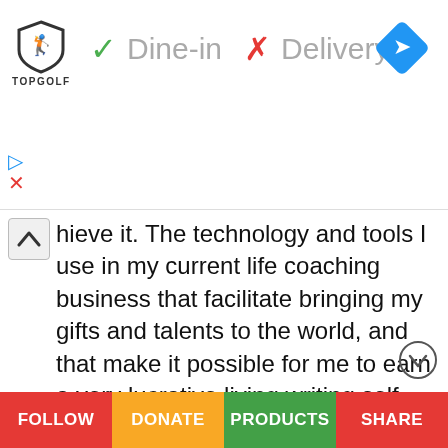[Figure (screenshot): Topgolf advertisement banner showing logo, checkmark Dine-in, X Delivery, and navigation arrow icon]
hieve it. The technology and tools I use in my current life coaching business that facilitate bringing my gifts and talents to the world, and that make it possible for me to earn a very lucrative living writing self-help books, making videos, making audio CDs, writing articles, etc. did not even exist when I started my life coaching business six years ago. Most everything that I thought would make my business work when I first started, turned out to be wrong. As a matter of fact, 99.9% of everything I tried over the course of several years to create a successful and profitable
FOLLOW   DONATE   PRODUCTS   SHARE